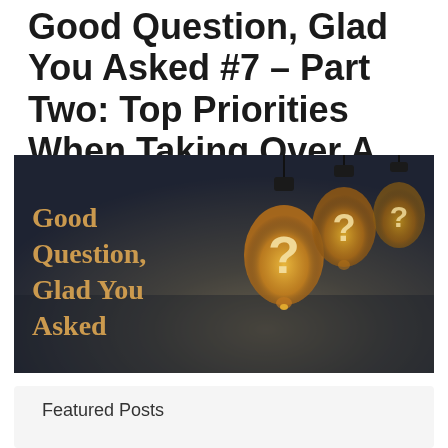Good Question, Glad You Asked #7 – Part Two: Top Priorities When Taking Over A Territory
[Figure (illustration): Promotional banner image with dark background showing three vintage Edison-style light bulbs hanging from above, each with a glowing question mark inside. Text on the left reads 'Good Question, Glad You Asked' in orange/gold serif font.]
Featured Posts